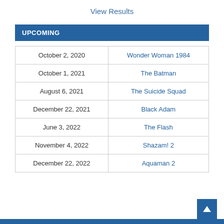View Results
UPCOMING
| Date | Movie |
| --- | --- |
| October 2, 2020 | Wonder Woman 1984 |
| October 1, 2021 | The Batman |
| August 6, 2021 | The Suicide Squad |
| December 22, 2021 | Black Adam |
| June 3, 2022 | The Flash |
| November 4, 2022 | Shazam! 2 |
| December 22, 2022 | Aquaman 2 |